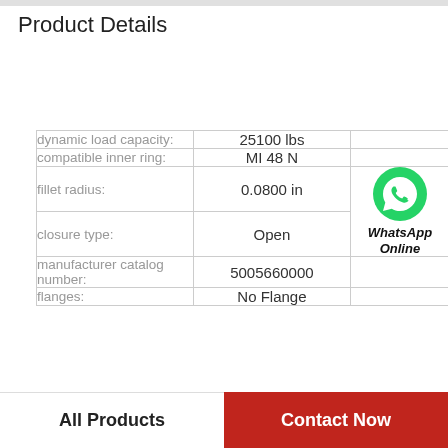Product Details
|  |  |  |
| --- | --- | --- |
| dynamic load capacity: | 25100 lbs |  |
| compatible inner ring: | MI 48 N |  |
| fillet radius: | 0.0800 in | WhatsApp Online |
| closure type: | Open |  |
| manufacturer catalog number: | 5005660000 |  |
| flanges: | No Flange |  |
All Products
Contact Now